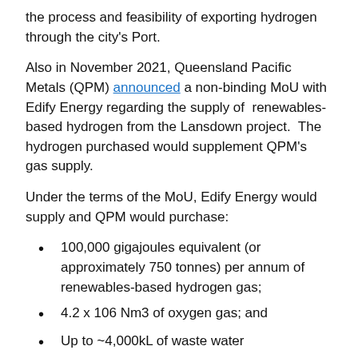the process and feasibility of exporting hydrogen through the city's Port.
Also in November 2021, Queensland Pacific Metals (QPM) announced a non-binding MoU with Edify Energy regarding the supply of  renewables-based hydrogen from the Lansdown project.  The hydrogen purchased would supplement QPM's gas supply.
Under the terms of the MoU, Edify Energy would supply and QPM would purchase:
100,000 gigajoules equivalent (or approximately 750 tonnes) per annum of renewables-based hydrogen gas;
4.2 x 106 Nm3 of oxygen gas; and
Up to ~4,000kL of waste water